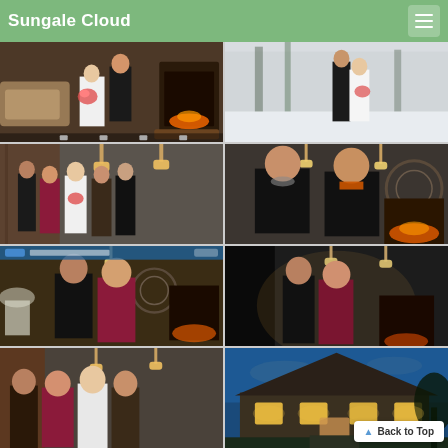Sungale Cloud
[Figure (photo): Wedding couple indoors near fireplace, bride holding bouquet]
[Figure (photo): Wedding couple outdoors in snow, bride in white dress]
[Figure (photo): Group of five people posing indoors, wedding party with brick wall background]
[Figure (photo): Couple posing indoors near fireplace with decorative wall piece]
[Figure (photo): Man and woman posing indoors with video overlay, fireplace background]
[Figure (photo): Man and woman posing indoors in dark setting, fireplace background]
[Figure (photo): Partial view of people posing indoors, brick wall background]
[Figure (photo): House exterior at dusk with lights]